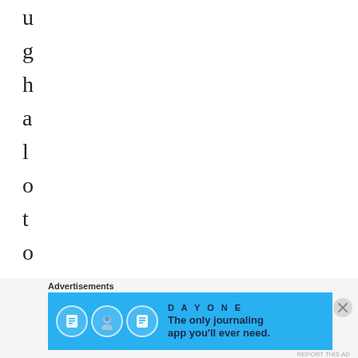u
g
h
a
l
o
t
o
f
b
l
Advertisements
[Figure (other): Day One journaling app advertisement banner with blue background, app icons, and text 'The only journaling app you'll ever need.']